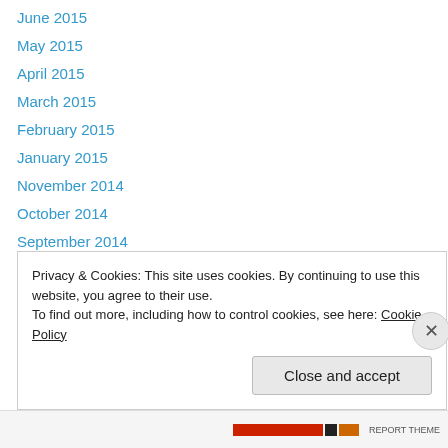June 2015
May 2015
April 2015
March 2015
February 2015
January 2015
November 2014
October 2014
September 2014
August 2014
July 2014
June 2014
May 2014
Privacy & Cookies: This site uses cookies. By continuing to use this website, you agree to their use. To find out more, including how to control cookies, see here: Cookie Policy
Close and accept